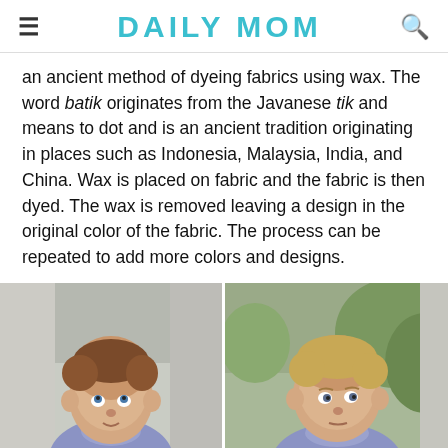DAILY MOM
an ancient method of dyeing fabrics using wax. The word batik originates from the Javanese tik and means to dot and is an ancient tradition originating in places such as Indonesia, Malaysia, India, and China. Wax is placed on fabric and the fabric is then dyed. The wax is removed leaving a design in the original color of the fabric. The process can be repeated to add more colors and designs.
[Figure (photo): Two side-by-side photos of babies wearing light purple/lavender onesies with a white design on them. Left photo shows a baby girl with reddish hair looking up, right photo shows a baby boy with blonde hair looking to the side, both photographed outdoors.]